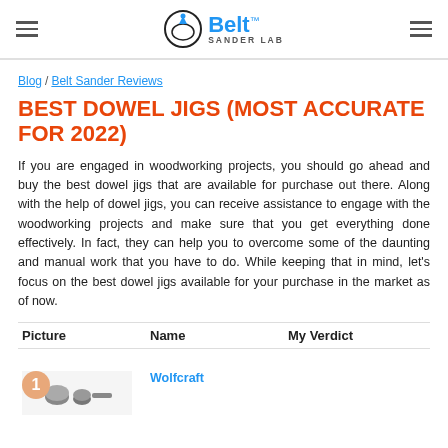Belt Sander Lab
Blog / Belt Sander Reviews
BEST DOWEL JIGS (MOST ACCURATE FOR 2022)
If you are engaged in woodworking projects, you should go ahead and buy the best dowel jigs that are available for purchase out there. Along with the help of dowel jigs, you can receive assistance to engage with the woodworking projects and make sure that you get everything done effectively. In fact, they can help you to overcome some of the daunting and manual work that you have to do. While keeping that in mind, let's focus on the best dowel jigs available for your purchase in the market as of now.
| Picture | Name | My Verdict |
| --- | --- | --- |
| 1 | Wolfcraft |  |